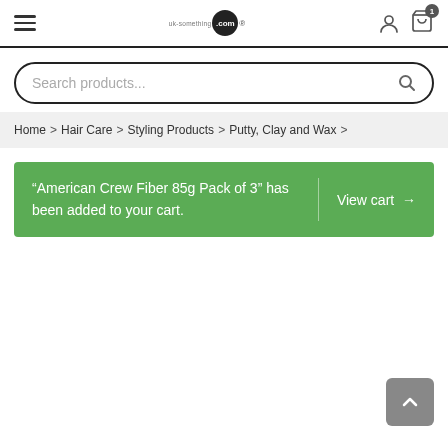[Figure (screenshot): Website navigation bar with hamburger menu, logo (uk-something.com), user icon, and cart icon showing badge count 1]
Search products...
Home > Hair Care > Styling Products > Putty, Clay and Wax >
“American Crew Fiber 85g Pack of 3” has been added to your cart. View cart →